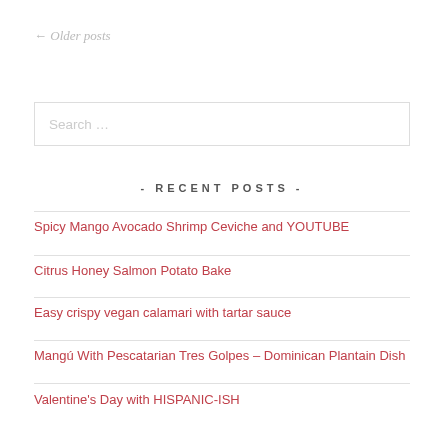← Older posts
Search …
- RECENT POSTS -
Spicy Mango Avocado Shrimp Ceviche and YOUTUBE
Citrus Honey Salmon Potato Bake
Easy crispy vegan calamari with tartar sauce
Mangú With Pescatarian Tres Golpes – Dominican Plantain Dish
Valentine's Day with HISPANIC-ISH